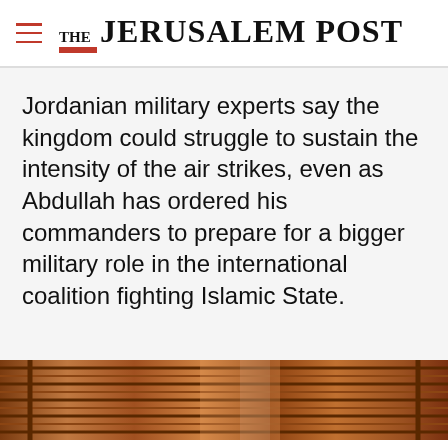THE JERUSALEM POST
Jordanian military experts say the kingdom could struggle to sustain the intensity of the air strikes, even as Abdullah has ordered his commanders to prepare for a bigger military role in the international coalition fighting Islamic State.
[Figure (photo): Partial view of wooden shelving or furniture structure, reddish-brown tones]
Advertisement